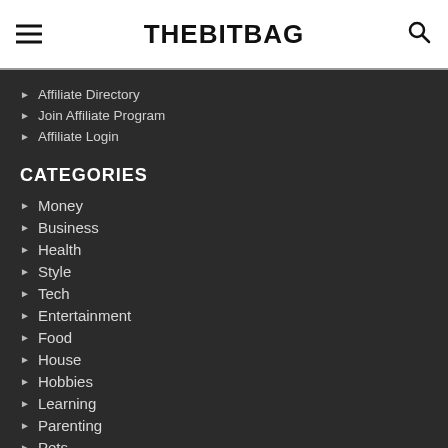THEBITBAG
Affiliate Directory
Join Affiliate Program
Affiliate Login
CATEGORIES
Money
Business
Health
Style
Tech
Entertainment
Food
House
Hobbies
Learning
Parenting
Pets
Automotive
Travel & Social